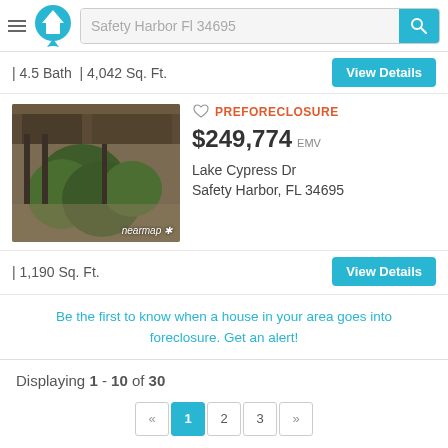[Figure (screenshot): App header with hamburger menu, home logo icon, and search bar showing 'Safety Harbor Fl 34695' with a teal search button]
| 4.5 Bath | 4,042 Sq. Ft.
PREFORECLOSURE $249,774 EMV Lake Cypress Dr Safety Harbor, FL 34695
[Figure (photo): Aerial nearmap photo of a property showing rooftops and trees]
| 1,190 Sq. Ft.
Be the first to know when a house in your area goes into foreclosure. Get an alert!
Displaying 1 - 10 of 30
« 1 2 3 »